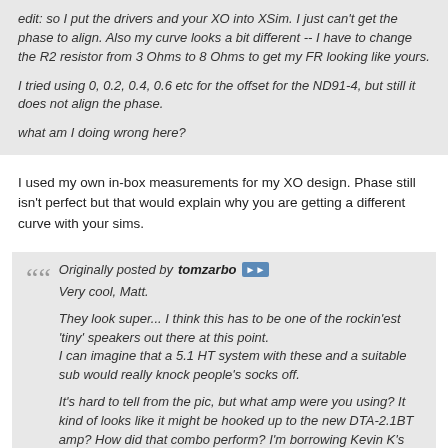edit: so I put the drivers and your XO into XSim. I just can't get the phase to align. Also my curve looks a bit different -- I have to change the R2 resistor from 3 Ohms to 8 Ohms to get my FR looking like yours.

I tried using 0, 0.2, 0.4, 0.6 etc for the offset for the ND91-4, but still it does not align the phase.

what am I doing wrong here?
I used my own in-box measurements for my XO design. Phase still isn't perfect but that would explain why you are getting a different curve with your sims.
Originally posted by tomzarbo
Very cool, Matt.

They look super... I think this has to be one of the rockin'est 'tiny' speakers out there at this point.
I can imagine that a 5.1 HT system with these and a suitable sub would really knock people's socks off.

It's hard to tell from the pic, but what amp were you using? It kind of looks like it might be hooked up to the new DTA-2.1BT amp? How did that combo perform? I'm borrowing Kevin K's amp hooked to the Bantam speakers using the same driver, and it does have the guts to drive them plenty loud. I've found that the ND91's seem to like a fair amount of power to reach their full output potential.... seems strange for their size, but they just keep getting louder and louder without really